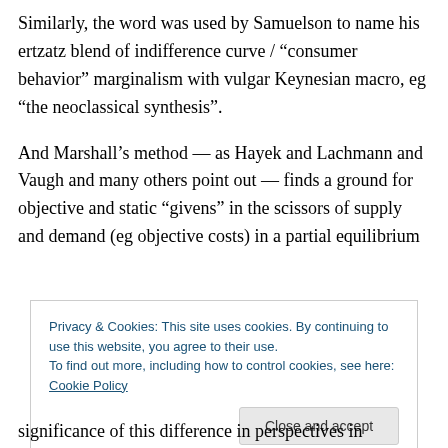Similarly, the word was used by Samuelson to name his ertzatz blend of indifference curve / “consumer behavior” marginalism with vulgar Keynesian macro, eg “the neoclassical synthesis”.
And Marshall’s method — as Hayek and Lachmann and Vaugh and many others point out — finds a ground for objective and static “givens” in the scissors of supply and demand (eg objective costs) in a partial equilibrium
Privacy & Cookies: This site uses cookies. By continuing to use this website, you agree to their use.
To find out more, including how to control cookies, see here: Cookie Policy
significance of this difference in perspectives in